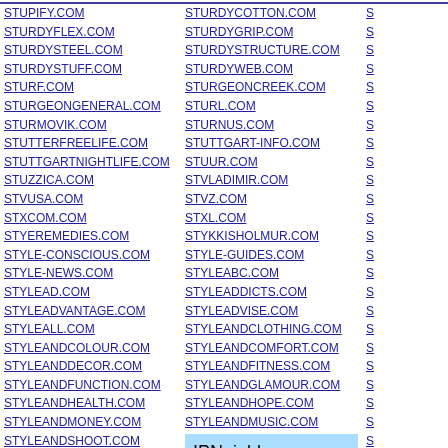Column 1 domain list: STUPIFY.COM, STURDYFLEX.COM, STURDYSTEEL.COM, STURDYSTUFF.COM, STURF.COM, STURGEONGENERAL.COM, STURMOVIK.COM, STUTTERFREELIFE.COM, STUTTGARTNIGHTLIFE.COM, STUZZICA.COM, STVUSA.COM, STXCOM.COM, STYEREMEDIES.COM, STYLE-CONSCIOUS.COM, STYLE-NEWS.COM, STYLEAD.COM, STYLEADVANTAGE.COM, STYLEALL.COM, STYLEANDCOLOUR.COM, STYLEANDDECOR.COM, STYLEANDFUNCTION.COM, STYLEANDHEALTH.COM, STYLEANDMONEY.COM, STYLEANDSHOOT.COM, STYLEANDTASTE.COM, STYLEARTSTUDIO.COM, STYLEATTITUDE.COM, STYLEBATHROOMS.COM
Column 2 domain list: STURDYCOTTON.COM, STURDYGRIP.COM, STURDYSTRUCTURE.COM, STURDYWEB.COM, STURGEONCREEK.COM, STURL.COM, STURNUS.COM, STUTTGART-INFO.COM, STUUR.COM, STVLADIMIR.COM, STVZ.COM, STXL.COM, STYKKISHOLMUR.COM, STYLE-GUIDES.COM, STYLEABC.COM, STYLEADDICTS.COM, STYLEADVISE.COM, STYLEANDCLOTHING.COM, STYLEANDCOMFORT.COM, STYLEANDFITNESS.COM, STYLEANDGLAMOUR.COM, STYLEANDHOPE.COM, STYLEANDMUSIC.COM
IPNeighbor.com Domain and Content for Sale. Make Offer. Click Here for Info